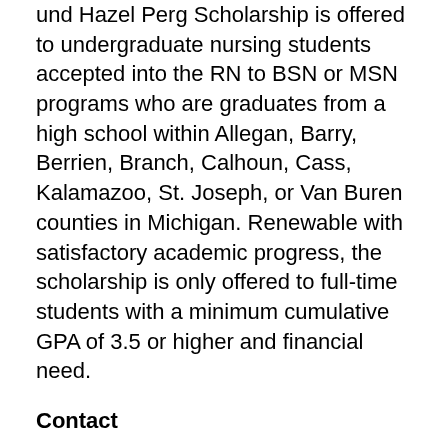und Hazel Perg Scholarship is offered to undergraduate nursing students accepted into the RN to BSN or MSN programs who are graduates from a high school within Allegan, Barry, Berrien, Branch, Calhoun, Cass, Kalamazoo, St. Joseph, or Van Buren counties in Michigan. Renewable with satisfactory academic progress, the scholarship is only offered to full-time students with a minimum cumulative GPA of 3.5 or higher and financial need.
Contact
Theodore and Hazel Perg Scholarship
1903 West Michigan Avenue
Kalamazoo, MI 49008
(269) 387-8150